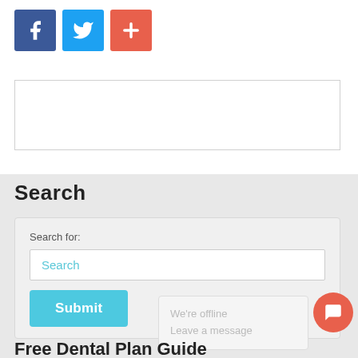[Figure (other): Social media share buttons: Facebook (blue), Twitter (light blue), and a red plus/add button]
[Figure (other): Empty advertisement or image placeholder box with light gray border]
Search
Search for:
[Figure (screenshot): Search input field with placeholder text 'Search' in cyan, and a cyan Submit button below]
We're offline
Leave a message
Free Dental Plan Guide